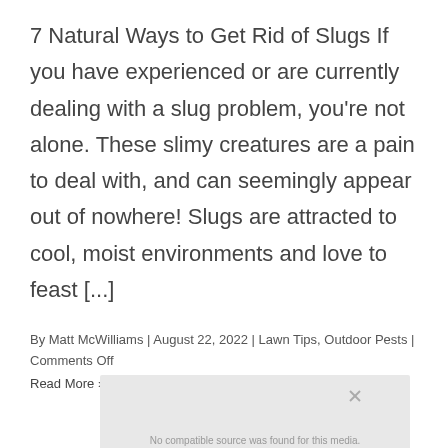7 Natural Ways to Get Rid of Slugs If you have experienced or are currently dealing with a slug problem, you're not alone. These slimy creatures are a pain to deal with, and can seemingly appear out of nowhere! Slugs are attracted to cool, moist environments and love to feast [...]
By Matt McWilliams | August 22, 2022 | Lawn Tips, Outdoor Pests | Comments Off
Read More >
[Figure (other): Video placeholder with 'No compatible source was found for this media' message and an X close button]